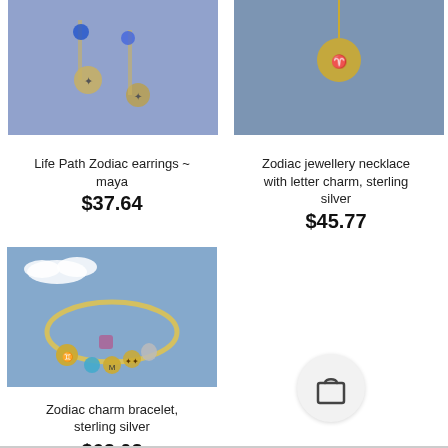[Figure (photo): Life Path Zodiac earrings photo on blue background]
Life Path Zodiac earrings ~ maya
$37.64
[Figure (photo): Zodiac jewellery necklace with letter charm, sterling silver on blue background]
Zodiac jewellery necklace with letter charm, sterling silver
$45.77
[Figure (photo): Zodiac charm bracelet, sterling silver on sky blue background]
Zodiac charm bracelet, sterling silver
$62.03
[Figure (illustration): Shopping bag icon button]